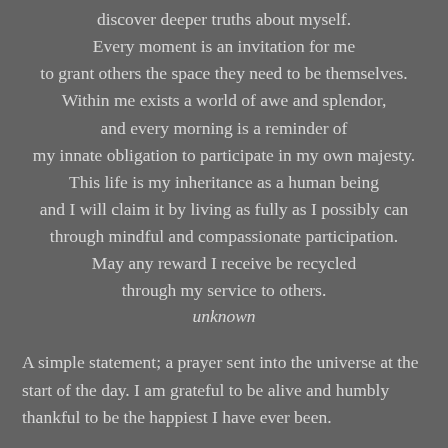discover deeper truths about myself.
Every moment is an invitation for me
to grant others the space they need to be themselves.
Within me exists a world of awe and splendor,
and every morning is a reminder of
my innate obligation to participate in my own majesty.
This life is my inheritance as a human being
and I will claim it by living as fully as I possibly can
through mindful and compassionate participation.
May any reward I receive be recycled
through my service to others.
unknown
A simple statement; a prayer sent into the universe at the start of the day. I am grateful to be alive and humbly thankful to be the happiest I have ever been.